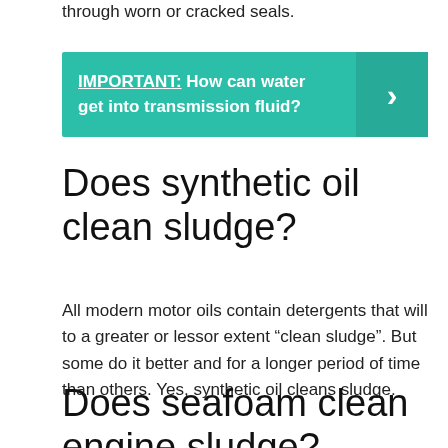through worn or cracked seals.
[Figure (infographic): Teal/green banner with bold white text reading 'IMPORTANT: How can water get into transmission fluid?' with a right-pointing chevron arrow on the right side in a slightly darker teal box.]
Does synthetic oil clean sludge?
All modern motor oils contain detergents that will to a greater or lessor extent “clean sludge”. But some do it better and for a longer period of time than others. Yes, synthetic oil cleans sludge.
Does seafoam clean engine sludge?